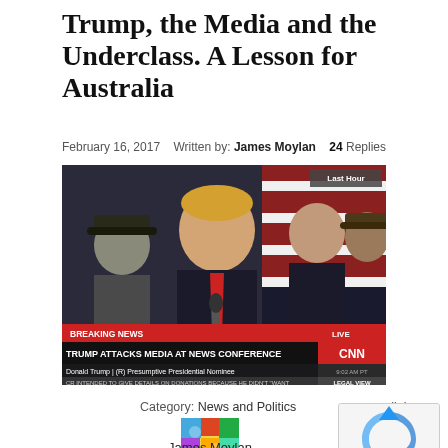Trump, the Media and the Underclass. A Lesson for Australia
February 16, 2017   Written by: James Moylan   24 Replies
[Figure (photo): CNN news broadcast screenshot showing Donald Trump speaking at a news conference with 'BREAKING NEWS: TRUMP ATTACKS MEDIA AT NEWS CONFERENCE' chyron. Chyron also shows 'Donald Trump | (R) Presumptive Presidential Nominee' and 'LIVE' label. Lower bar reads 'CR INTENDED TO GIVE DETAILS ON DONATIONS BECAUSE HE DIDN'T WANT   LEGAL VIEW'. Top right corner shows 'Last Hour'.]
Category: News and Politics   permalink
[Figure (photo): Small colorful avatar thumbnail image for James Moylan]
James Moylan